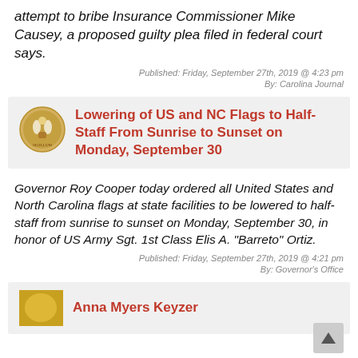attempt to bribe Insurance Commissioner Mike Causey, a proposed guilty plea filed in federal court says.
Published: Friday, September 27th, 2019 @ 4:23 pm
By: Carolina Journal
Lowering of US and NC Flags to Half-Staff From Sunrise to Sunset on Monday, September 30
Governor Roy Cooper today ordered all United States and North Carolina flags at state facilities to be lowered to half-staff from sunrise to sunset on Monday, September 30, in honor of US Army Sgt. 1st Class Elis A. "Barreto" Ortiz.
Published: Friday, September 27th, 2019 @ 4:21 pm
By: Governor's Office
Anna Myers Keyzer